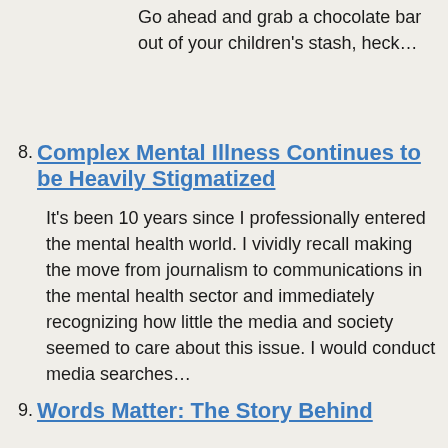Go ahead and grab a chocolate bar out of your children's stash, heck…
8. Complex Mental Illness Continues to be Heavily Stigmatized
It's been 10 years since I professionally entered the mental health world. I vividly recall making the move from journalism to communications in the mental health sector and immediately recognizing how little the media and society seemed to care about this issue. I would conduct media searches…
9. Words Matter: The Story Behind